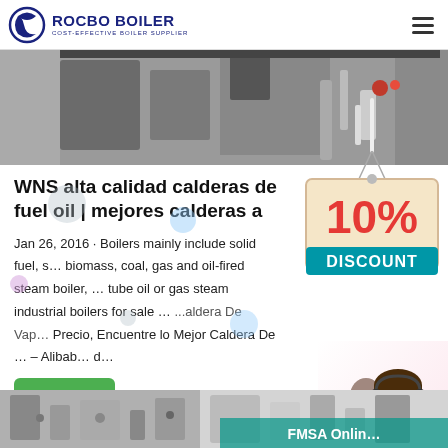ROCBO BOILER — COST-EFFECTIVE BOILER SUPPLIER
[Figure (photo): Industrial boiler machinery/equipment photo]
WNS alta calidad calderas de fuel oil | mejores calderas a
Jan 26, 2016 · Boilers mainly include solid fuel, s… biomass, coal, gas and oil-fired steam boiler, … tube oil or gas steam industrial boilers for sale … Caldera De Vap… Precio, Encuentre lo Mejor Caldera De … – Alibab… d…
[Figure (infographic): 10% DISCOUNT badge/sign]
[Figure (photo): Customer service agent (woman with headset)]
[Figure (photo): Bottom strip photo of industrial boiler equipment]